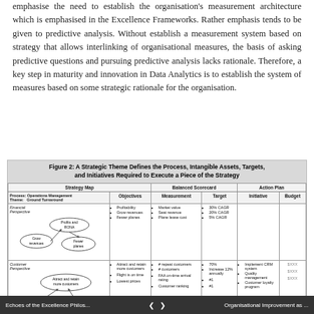emphasise the need to establish the organisation's measurement architecture which is emphasised in the Excellence Frameworks. Rather emphasis tends to be given to predictive analysis. Without establish a measurement system based on strategy that allows interlinking of organisational measures, the basis of asking predictive questions and pursuing predictive analysis lacks rationale. Therefore, a key step in maturity and innovation in Data Analytics is to establish the system of measures based on some strategic rationale for the organisation.
Figure 2: A Strategic Theme Defines the Process, Intangible Assets, Targets, and Initiatives Required to Execute a Piece of the Strategy
[Figure (other): A diagram showing a balanced scorecard framework with Strategy Map, Balanced Scorecard (Measurement and Target columns), and Action Plan (Initiative and Budget columns). The Strategy Map shows oval diagrams for Financial Perspective (Profits and RONA, Grow revenues, Fewer planes), Customer Perspective (Attract and retain more customers, On-time service, Lowest prices). The table rows contain process themes, objectives, measurements, targets, initiatives and budgets.]
Echoes of the Excellence Philos... < > Organisational Improvement as ...